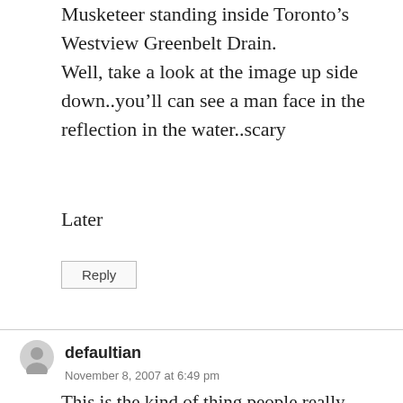Musketeer standing inside Toronto's Westview Greenbelt Drain.
Well, take a look at the image up side down..you'll can see a man face in the reflection in the water..scary
Later
Reply
defaultian
November 8, 2007 at 6:49 pm
This is the kind of thing people really want to do with their lives.